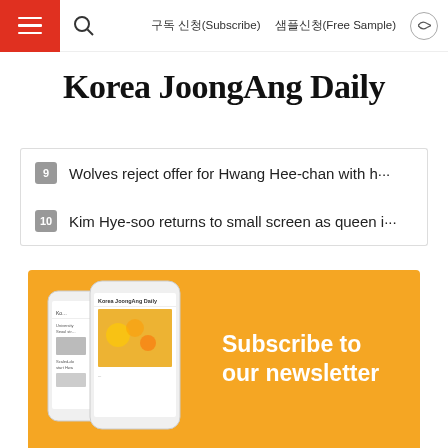구독 신청(Subscribe)   샘플신청(Free Sample)
Korea JoongAng Daily
9  Wolves reject offer for Hwang Hee-chan with n…
10  Kim Hye-soo returns to small screen as queen i…
[Figure (infographic): Subscribe to our newsletter banner with orange background showing phone mockups of Korea JoongAng Daily and bold white text 'Subscribe to our newsletter']